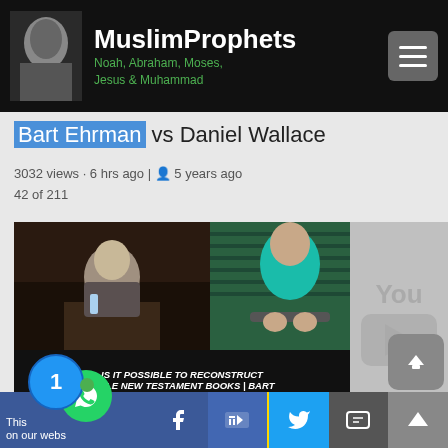MuslimProphets Noah, Abraham, Moses, Jesus & Muhammad
Bart Ehrman vs Daniel Wallace
3032 views · 6 hrs ago | 5 years ago
42 of 211
[Figure (screenshot): Video thumbnail showing two men speaking at a debate, with overlay text: IS IT POSSIBLE TO RECONSTRUCT BIBLE NEW TESTAMENT BOOKS | BART EHRMAN VS CHRISTIAN APOLOGIST, and a YouTube logo panel showing duration 8:25]
Can we reconstruct the Original Manuscripts of New
This content is shared on our website